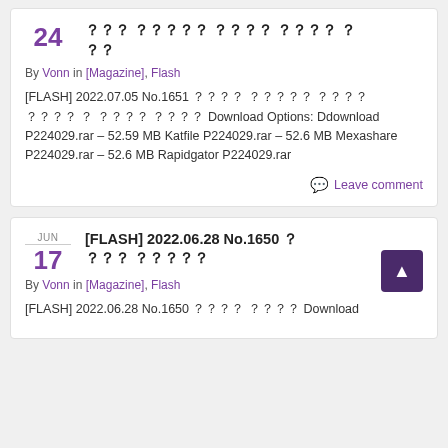24 [FLASH] 2022.07.05 No.1651 ？？？ ？？？？？ ？？？？ ？？？？ ？ ？？
By Vonn in [Magazine], Flash
[FLASH] 2022.07.05 No.1651 ？？？？ ？？？？？ ？？？？ ？？？？ ？ ？？？？ ？？？？ Download Options: Ddownload P224029.rar – 52.59 MB Katfile P224029.rar – 52.6 MB Mexashare P224029.rar – 52.6 MB Rapidgator P224029.rar
Leave comment
[FLASH] 2022.06.28 No.1650 ？ ？？？ ？？？？？
By Vonn in [Magazine], Flash
[FLASH] 2022.06.28 No.1650 ？？？？ ？？？？ Download